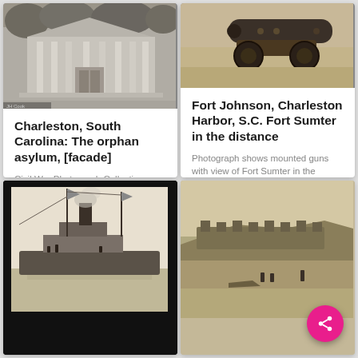[Figure (photo): Black and white historical photograph of Charleston, South Carolina orphan asylum facade, showing a columned building with trees]
Charleston, South Carolina: The orphan asylum, [facade]
Civil War Photograph Collection (Library of Congress). No. 3423.
[Figure (photo): Sepia historical photograph of mounted cannon guns at Fort Johnson, Charleston Harbor, with Fort Sumter visible in the distance]
Fort Johnson, Charleston Harbor, S.C. Fort Sumter in the distance
Photograph shows mounted guns with view of Fort Sumter in the background. No. B1194. Title from item. Gift; Col. Godwin Ordway; 1948.
[Figure (photo): Black and white historical photograph of a Civil War era steamship with flags]
[Figure (photo): Sepia historical photograph of a fort or earthwork structure near water with figures visible]